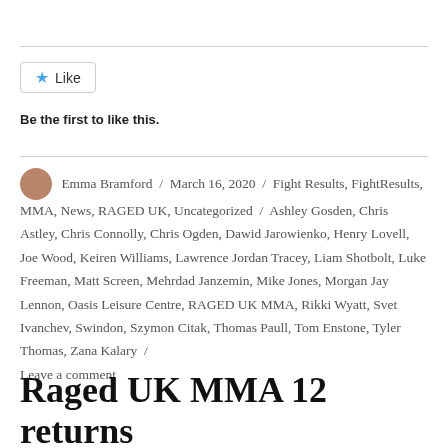[Figure (other): Like button widget with star icon and 'Like' label]
Be the first to like this.
Emma Bramford / March 16, 2020 / Fight Results, FightResults, MMA, News, RAGED UK, Uncategorized / Ashley Gosden, Chris Astley, Chris Connolly, Chris Ogden, Dawid Jarowienko, Henry Lovell, Joe Wood, Keiren Williams, Lawrence Jordan Tracey, Liam Shotbolt, Luke Freeman, Matt Screen, Mehrdad Janzemin, Mike Jones, Morgan Jay Lennon, Oasis Leisure Centre, RAGED UK MMA, Rikki Wyatt, Svet Ivanchev, Swindon, Szymon Citak, Thomas Paull, Tom Enstone, Tyler Thomas, Zana Kalary / Leave a comment
Raged UK MMA 12 returns to Swindon on Saturday